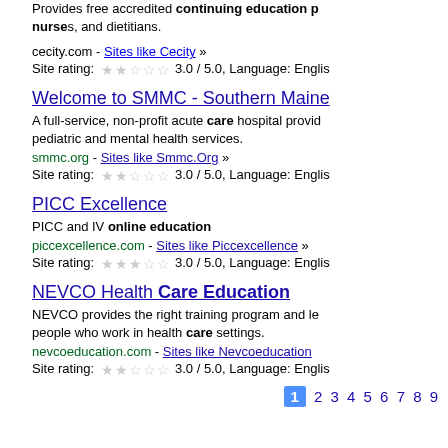Provides free accredited continuing education programs for nurses, and dietitians.
cecity.com - Sites like Cecity » Site rating: 3.0 / 5.0, Language: English
Welcome to SMMC - Southern Maine
A full-service, non-profit acute care hospital providing pediatric and mental health services.
smmc.org - Sites like Smmc.Org » Site rating: 3.0 / 5.0, Language: English
PICC Excellence
PICC and IV online education
piccexcellence.com - Sites like Piccexcellence » Site rating: 3.0 / 5.0, Language: English
NEVCO Health Care Education
NEVCO provides the right training program and learning resources for people who work in health care settings.
nevcoeducation.com - Sites like Nevcoeducation Site rating: 3.0 / 5.0, Language: English
1 2 3 4 5 6 7 8 9